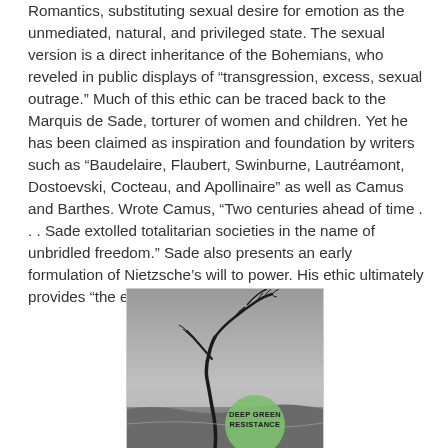Romantics, substituting sexual desire for emotion as the unmediated, natural, and privileged state. The sexual version is a direct inheritance of the Bohemians, who reveled in public displays of “transgression, excess, sexual outrage.” Much of this ethic can be traced back to the Marquis de Sade, torturer of women and children. Yet he has been claimed as inspiration and foundation by writers such as “Baudelaire, Flaubert, Swinburne, Lautréamont, Dostoevski, Cocteau, and Apollinaire” as well as Camus and Barthes. Wrote Camus, “Two centuries ahead of time . . . Sade extolled totalitarian societies in the name of unbridled freedom.” Sade also presents an early formulation of Nietzsche’s will to power. His ethic ultimately provides “the erotic roots of fascism.”
[Figure (photo): Book cover of 'Deep Green Resistance' showing a black and white photo of a windswept bare tree against a grey sky, with a green circle containing the text 'DEEP GREEN RESISTANCE' at the bottom.]